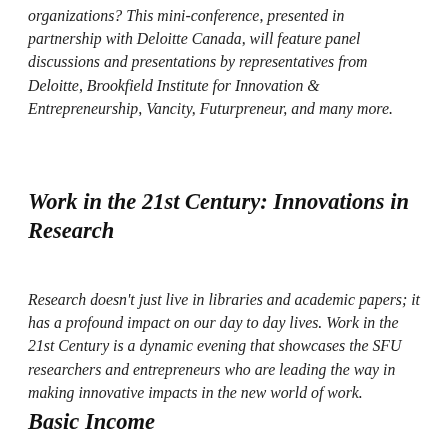organizations? This mini-conference, presented in partnership with Deloitte Canada, will feature panel discussions and presentations by representatives from Deloitte, Brookfield Institute for Innovation & Entrepreneurship, Vancity, Futurpreneur, and many more.
Work in the 21st Century: Innovations in Research
Research doesn't just live in libraries and academic papers; it has a profound impact on our day to day lives. Work in the 21st Century is a dynamic evening that showcases the SFU researchers and entrepreneurs who are leading the way in making innovative impacts in the new world of work.
Basic Income